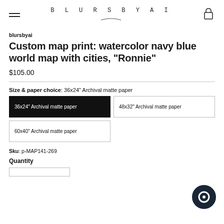BLURSBYAI
blursbyai
Custom map print: watercolor navy blue world map with cities, "Ronnie"
$105.00
Size & paper choice: 36x24" Archival matte paper
36x24" Archival matte paper
48x32" Archival matte paper
60x40" Archival matte paper
Sku: p-MAP141-269
Quantity